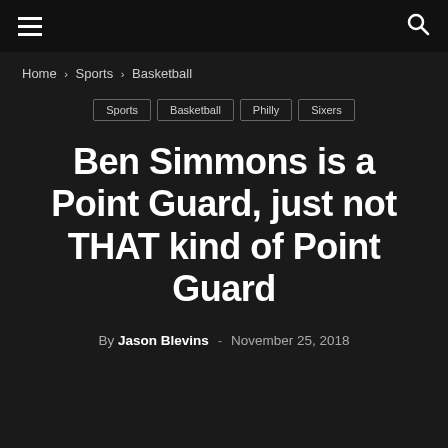☰  🔍
Home › Sports › Basketball
Sports
Basketball
Philly
Sixers
Ben Simmons is a Point Guard, just not THAT kind of Point Guard
By Jason Blevins - November 25, 2018